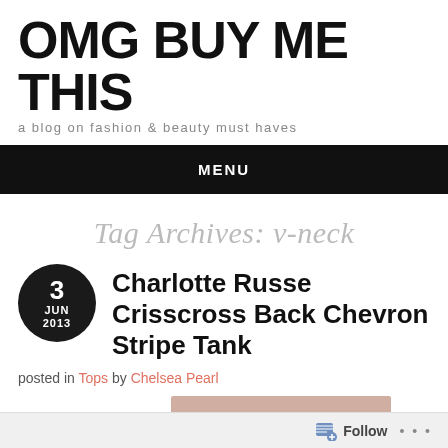OMG BUY ME THIS
a blog on fashion & beauty must haves
MENU
Tag Archives: v-neck
3 JUN 2013
Charlotte Russe Crisscross Back Chevron Stripe Tank
posted in Tops by Chelsea Pearl
Follow ...